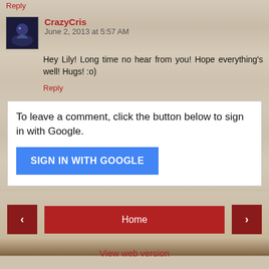Reply
CrazyCris  June 2, 2013 at 5:57 AM
Hey Lily! Long time no hear from you! Hope everything's well! Hugs! :o)
Reply
To leave a comment, click the button below to sign in with Google.
SIGN IN WITH GOOGLE
Thank you for your comment. I love hearing from you!
Home
View web version